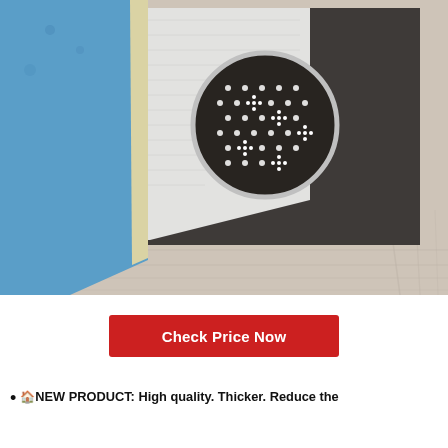[Figure (photo): Product photo of a rug pad being demonstrated: a blue area rug partially folded back to show a white textured non-slip pad underneath, placed on a dark felt backing on a light wood floor. A circular magnified inset shows the dot/flower pattern on the underside of the non-slip pad.]
Check Price Now
🏠NEW PRODUCT: High quality. Thicker. Reduce the